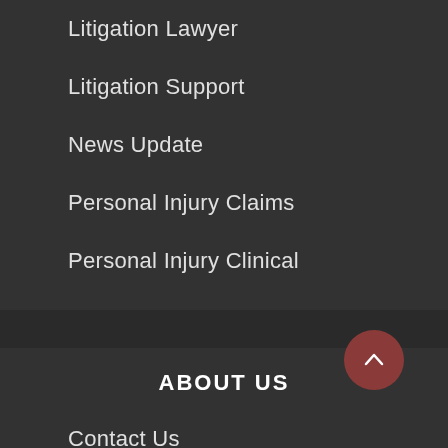Litigation Lawyer
Litigation Support
News Update
Personal Injury Claims
Personal Injury Clinical
Search Case Law
ABOUT US
Contact Us
Advertise Here